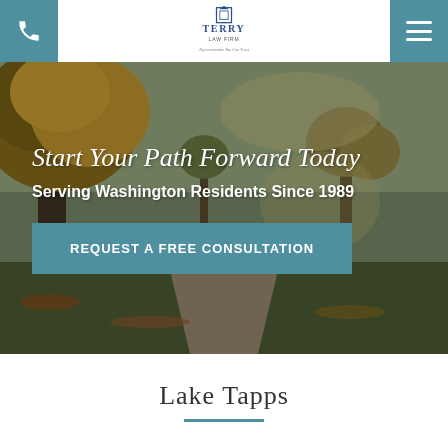[Figure (logo): Terry Law Firm logo with blue building icon, 'TERRY LAW FIRM' text, and tagline 'Representation You Can Trust']
[Figure (photo): Autumn park scene with large tree, colorful fall foliage, and winding path through a park]
Start Your Path Forward Today
Serving Washington Residents Since 1989
REQUEST A FREE CONSULTATION
Lake Tapps